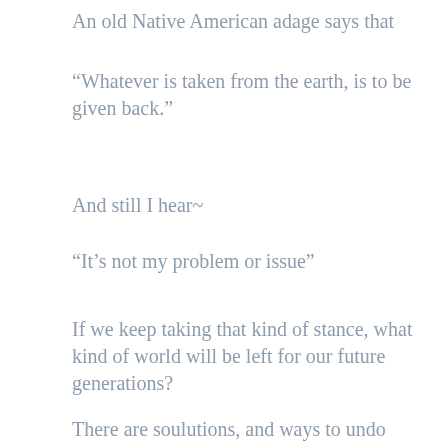An old Native American adage says that
“Whatever is taken from the earth, is to be given back.”
And still I hear~
“It’s not my problem or issue”
If we keep taking that kind of stance, what kind of world will be left for our future generations?
There are soulutions, and ways to undo this.